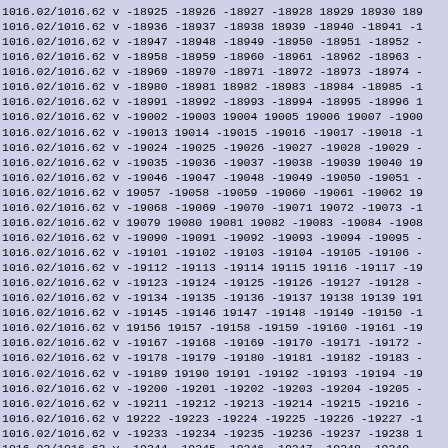1016.02/1016.62 v -18925 -18926 -18927 -18928 18929 18930 189
1016.02/1016.62 v -18936 -18937 -18938 18939 -18940 -18941 -1
1016.02/1016.62 v -18947 -18948 -18949 -18950 -18951 -18952 -
1016.02/1016.62 v -18958 -18959 -18960 -18961 -18962 -18963 -
1016.02/1016.62 v -18969 -18970 -18971 -18972 -18973 -18974 -
1016.02/1016.62 v -18980 -18981 18982 -18983 -18984 -18985 -1
1016.02/1016.62 v -18991 -18992 -18993 -18994 -18995 -18996 1
1016.02/1016.62 v -19002 -19003 19004 19005 19006 19007 -1900
1016.02/1016.62 v -19013 19014 -19015 -19016 -19017 -19018 -1
1016.02/1016.62 v -19024 -19025 -19026 -19027 -19028 -19029 -
1016.02/1016.62 v -19035 -19036 -19037 -19038 -19039 19040 19
1016.02/1016.62 v -19046 -19047 -19048 -19049 -19050 -19051 -
1016.02/1016.62 v 19057 -19058 -19059 -19060 -19061 -19062 19
1016.02/1016.62 v -19068 -19069 -19070 -19071 19072 -19073 -1
1016.02/1016.62 v 19079 19080 19081 19082 -19083 -19084 -1908
1016.02/1016.62 v -19090 -19091 -19092 -19093 -19094 -19095 -
1016.02/1016.62 v -19101 -19102 -19103 -19104 -19105 -19106 -
1016.02/1016.62 v -19112 -19113 -19114 19115 19116 -19117 -19
1016.02/1016.62 v -19123 -19124 -19125 -19126 -19127 -19128 -
1016.02/1016.62 v -19134 -19135 -19136 -19137 19138 19139 191
1016.02/1016.62 v -19145 -19146 19147 -19148 -19149 -19150 -1
1016.02/1016.62 v 19156 19157 -19158 -19159 -19160 -19161 -19
1016.02/1016.62 v -19167 -19168 -19169 -19170 -19171 -19172 -
1016.02/1016.62 v -19178 -19179 -19180 -19181 -19182 -19183 -
1016.02/1016.62 v -19189 19190 19191 -19192 -19193 -19194 -19
1016.02/1016.62 v -19200 -19201 -19202 -19203 -19204 -19205 -
1016.02/1016.62 v -19211 -19212 -19213 -19214 -19215 -19216 -
1016.02/1016.62 v 19222 -19223 -19224 -19225 -19226 -19227 -1
1016.02/1016.62 v -19233 -19234 -19235 -19236 -19237 -19238 1
1016.02/1016.62 v -19244 -19245 -19246 -19247 -19248 -19249 -
1016.02/1016.62 v -19255 -19256 -19257 -19258 -19259 -19260
1016.02/1016.62 v 19266 -19267 -19268 -19269 -19270 -19271 -